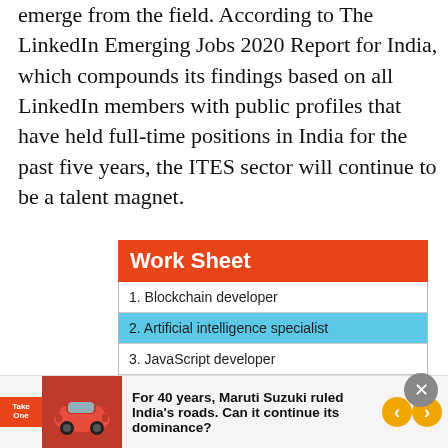emerge from the field. According to The LinkedIn Emerging Jobs 2020 Report for India, which compounds its findings based on all LinkedIn members with public profiles that have held full-time positions in India for the past five years, the ITES sector will continue to be a talent magnet.
| Work Sheet |
| --- |
| 1. Blockchain developer |
| 2. Artificial intelligence specialist |
| 3. JavaScript developer |
| 4. Robotic process automation consultant |
| 5. Back-end developer |
| 6. Growth manager |
| 7. Site reliability engineer |
For 40 years, Maruti Suzuki ruled India's roads. Can it continue its dominance?